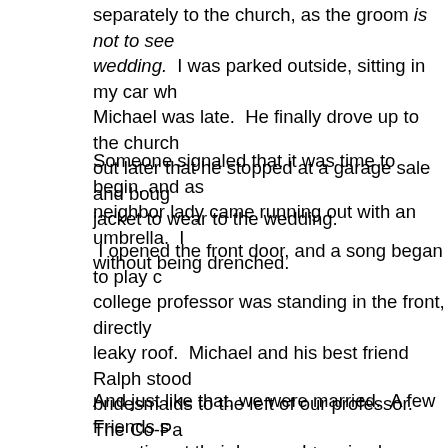separately to the church, as the groom is not to see the bride before the wedding. I was parked outside, sitting in my car wh... Michael was late. He finally drove up to the church... out later that he stopped at a garage sale and boug... jacket to wear to the wedding.
Someone signaled that it was time to begin, and as... neighbor lady came running out with an umbrella. I... without being drenched.
I opened the front door, and a song began to play c... college professor was standing in the front, directly... leaky roof. Michael and his best friend Ralph stood... bridesmaids to the left of our professor. The Co-Pa... began to sing “Until the 12th of Never” as I came dow... There was no center aisle. I thought, “what a nice... anyone was going sing.
And just like that, we were married. A few Friends s... reception at their house. I received a “Cooking for T... Tupperware. Approximately 1 hr. later, we were lef...